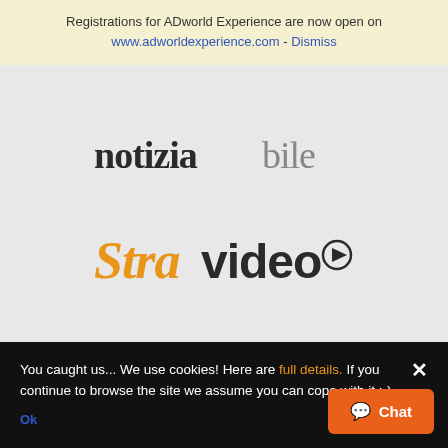Registrations for ADworld Experience are now open on www.adworldexperience.com - Dismiss
[Figure (logo): notiziabile logo in dark gray serif/sans mixed font]
[Figure (logo): Stravideo logo with orange 'Stra' and dark 'video' with play button icon]
You caught us... We use cookies! Here are full details. If you continue to browse the site we assume you can cope with it ;-)
Ok
Chat